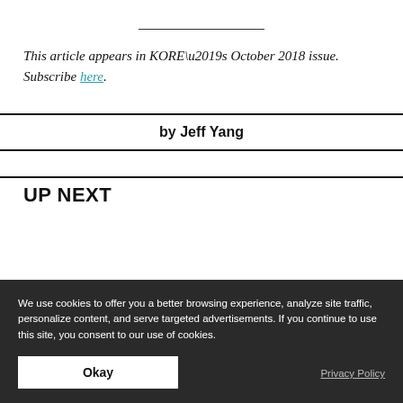This article appears in KORE’s October 2018 issue. Subscribe here.
by Jeff Yang
UP NEXT
We use cookies to offer you a better browsing experience, analyze site traffic, personalize content, and serve targeted advertisements. If you continue to use this site, you consent to our use of cookies.
Okay
Privacy Policy